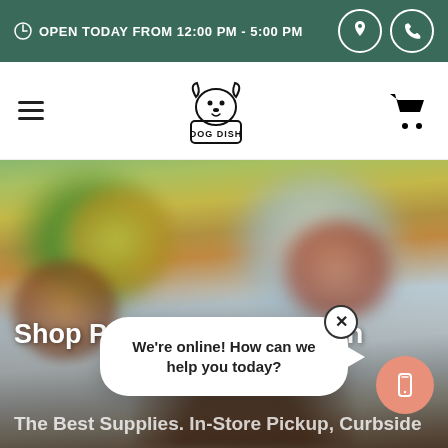OPEN TODAY FROM 12:00 PM - 5:00 PM
[Figure (logo): Dog Dish pet store logo — cartoon dog face above text DOG DISH]
[Figure (photo): Blurred outdoor autumn background with a dog visible in foreground, trees with fall foliage and sky in background]
Shop Paw Wipes for Dogs in
The Best Supplies. In-Store Pickup, Curbside
We're online! How can we help you today?